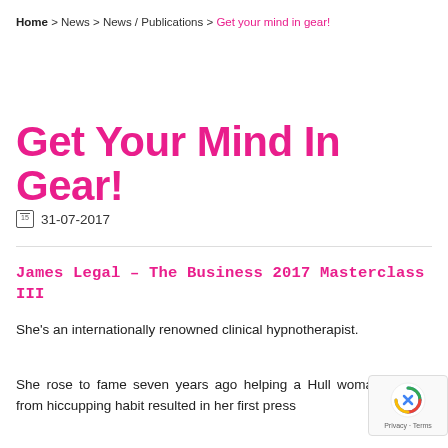Home > News > News / Publications > Get your mind in gear!
Get Your Mind In Gear!
31-07-2017
James Legal – The Business 2017 Masterclass III
She's an internationally renowned clinical hypnotherapist.
She rose to fame seven years ago helping a Hull woman recover from hiccupping habit resulted in her first press